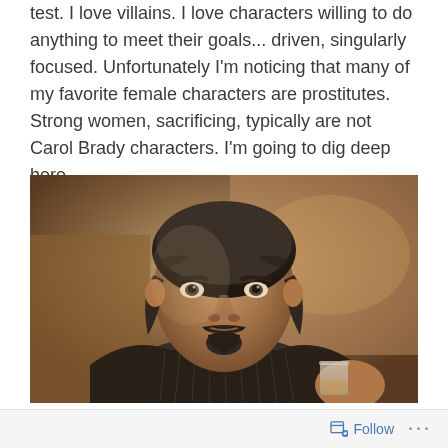test. I love villains. I love characters willing to do anything to meet their goals... driven, singularly focused. Unfortunately I'm noticing that many of my favorite female characters are prostitutes. Strong women, sacrificing, typically are not Carol Brady characters. I'm going to dig deep here.
[Figure (photo): A middle-aged man with dark wavy hair, a mustache and goatee, wearing a pinstripe suit jacket, holding a glass of liquor. The image appears to be from a TV show or film, set in an old Western or period setting with a warm brown/golden background.]
Follow ...